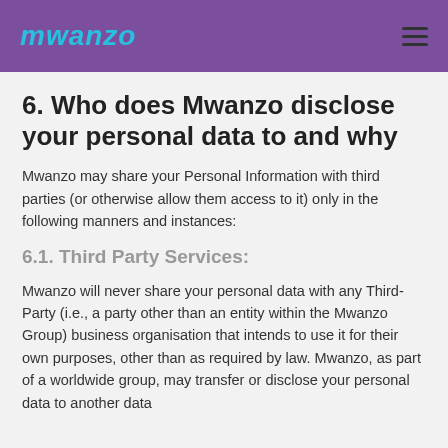mwanzo
6. Who does Mwanzo disclose your personal data to and why
Mwanzo may share your Personal Information with third parties (or otherwise allow them access to it) only in the following manners and instances:
6.1. Third Party Services:
Mwanzo will never share your personal data with any Third-Party (i.e., a party other than an entity within the Mwanzo Group) business organisation that intends to use it for their own purposes, other than as required by law. Mwanzo, as part of a worldwide group, may transfer or disclose your personal data to another data